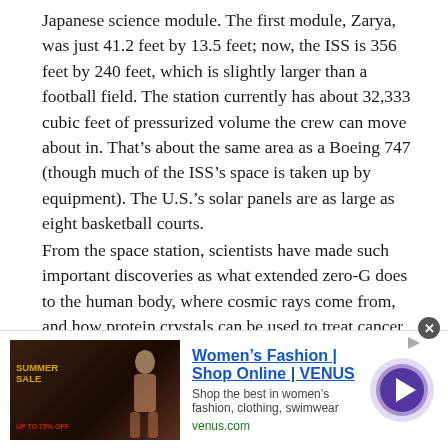Japanese science module. The first module, Zarya, was just 41.2 feet by 13.5 feet; now, the ISS is 356 feet by 240 feet, which is slightly larger than a football field. The station currently has about 32,333 cubic feet of pressurized volume the crew can move about in. That's about the same area as a Boeing 747 (though much of the ISS's space is taken up by equipment). The U.S.'s solar panels are as large as eight basketball courts.
From the space station, scientists have made such important discoveries as what extended zero-G does to the human body, where cosmic rays come from, and how protein crystals can be used to treat cancer. Though NASA expects the most modern modules of the ISS to be usable well into the 2030s, by 2025 the agency may begin “transitioning” much of its ISS operations—and costs—to the private sector [PDF] with an eye on expanding the commercial potential of space.
[Figure (infographic): Advertisement banner for Women's Fashion at VENUS. Shows a promotional image with SUMMER SALE text on the left, Women's Fashion | Shop Online | VENUS headline in blue, descriptive text 'Shop the best in women's fashion, clothing, swimwear', venus.com URL in green, and a circular arrow button on the right. Close button (x) visible at top right.]